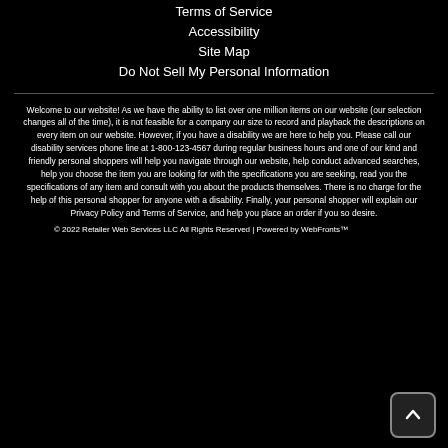Terms of Service
Accessibility
Site Map
Do Not Sell My Personal Information
Welcome to our website! As we have the ability to list over one million items on our website (our selection changes all of the time), it is not feasible for a company our size to record and playback the descriptions on every item on our website. However, if you have a disability we are here to help you. Please call our disability services phone line at 1-800-123-4567 during regular business hours and one of our kind and friendly personal shoppers will help you navigate through our website, help conduct advanced searches, help you choose the item you are looking for with the specifications you are seeking, read you the specifications of any item and consult with you about the products themselves. There is no charge for the help of this personal shopper for anyone with a disability. Finally, your personal shopper will explain our Privacy Policy and Terms of Service, and help you place an order if you so desire.
© 2022 Retailer Web Services LLC All Rights Reserved | Powered by WebFronts™